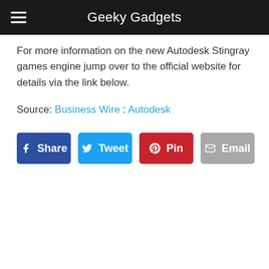Geeky Gadgets
For more information on the new Autodesk Stingray games engine jump over to the official website for details via the link below.
Source: Business Wire : Autodesk
[Figure (infographic): Social share buttons: Share (Facebook, blue), Tweet (Twitter, light blue), Pin (Pinterest, red), Email (grey)]